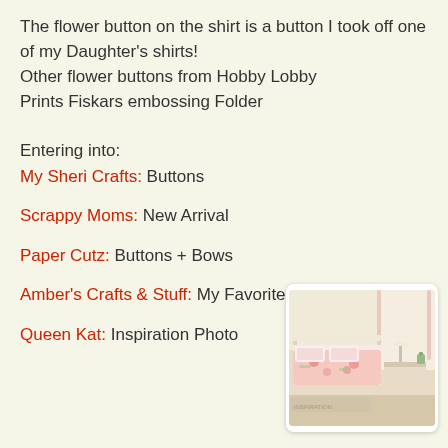The flower button on the shirt is a button I took off one of my Daughter's shirts!
Other flower buttons from Hobby Lobby
Prints Fiskars embossing Folder
Entering into:
My Sheri Crafts: Buttons

Scrappy Moms: New Arrival

Paper Cutz: Buttons + Bows

Amber's Crafts & Stuff: My Favorite Things

Queen Kat: Inspiration Photo
[Figure (photo): A photograph of a children's bedroom with pink floral bedding, canopy, and nightstand with decorative items.]